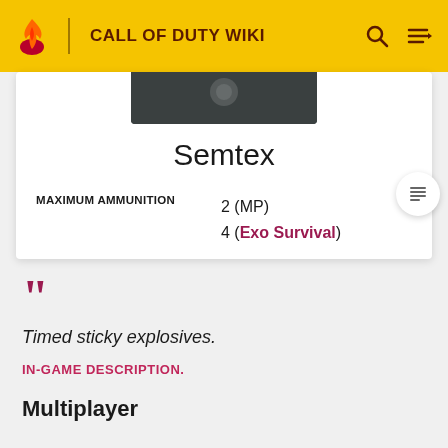CALL OF DUTY WIKI
[Figure (screenshot): Dark screenshot of Semtex grenade item]
Semtex
|  |  |
| --- | --- |
| MAXIMUM AMMUNITION | 2 (MP)
4 (Exo Survival) |
Timed sticky explosives.
IN-GAME DESCRIPTION.
Multiplayer